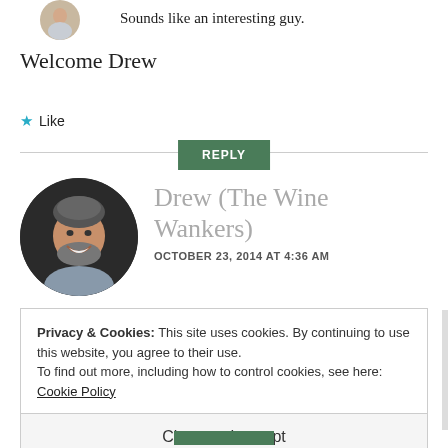[Figure (photo): Partially visible circular avatar photo at top left, cropped]
Sounds like an interesting guy.
Welcome Drew
★ Like
REPLY
[Figure (photo): Circular avatar photo of Drew, a man with gray-streaked dark hair and beard, smiling, wearing a gray shirt]
Drew (The Wine Wankers)
OCTOBER 23, 2014 AT 4:36 AM
Privacy & Cookies: This site uses cookies. By continuing to use this website, you agree to their use.
To find out more, including how to control cookies, see here: Cookie Policy
Close and accept